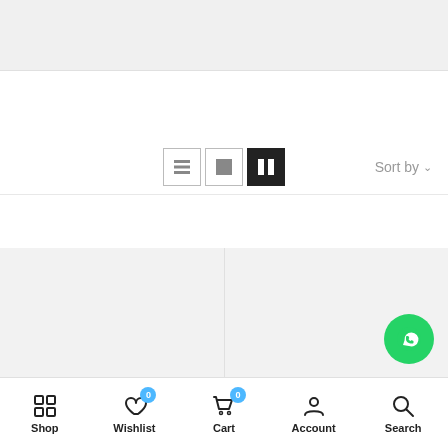[Figure (screenshot): Top partial product images (two grey placeholder cards partially visible)]
[Figure (screenshot): Toolbar with list/grid view toggle icons (list, single-grid, two-column active) and Sort by dropdown]
[Figure (screenshot): Two product placeholder cards with infinite loading symbol (left: Moona Shoes In Silver, right: Moona Shoes In Bronze)]
Moona Shoes In Silver
RM139.00
Moona Shoes In Bronze
RM139.00
[Figure (screenshot): Bottom navigation bar with Shop, Wishlist (badge:0), Cart (badge:0), Account, Search icons]